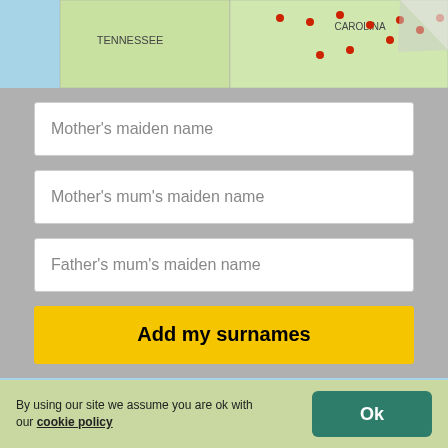[Figure (map): Partial map showing southeastern US states including Tennessee and North Carolina with red dot markers indicating locations]
Mother's maiden name
Mother's mum's maiden name
Father's mum's maiden name
Add my surnames
Explore where tribe members live today!
By using our site we assume you are ok with our cookie policy
Ok